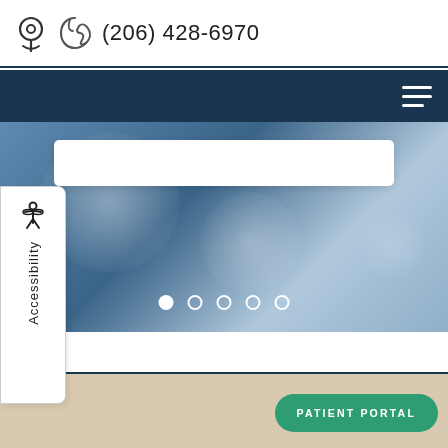(206) 428-6970
[Figure (screenshot): Website navigation bar with dark navy background and hamburger menu icon on the right]
[Figure (screenshot): Hero image slider with blurred blue bokeh background, a white search input box, and five slider dots (first one filled/active)]
Accessibility
PATIENT PORTAL